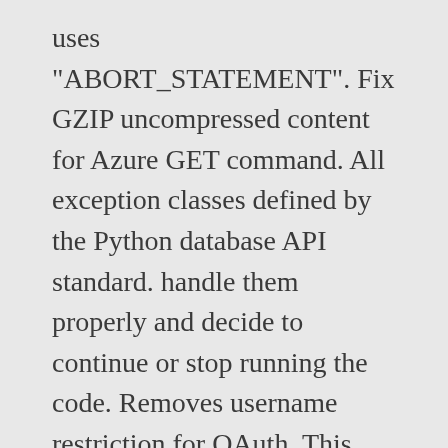uses "ABORT_STATEMENT". Fix GZIP uncompressed content for Azure GET command. All exception classes defined by the Python database API standard. handle them properly and decide to continue or stop running the code. Removes username restriction for OAuth. This topic covers the standard Usage Notes for the account Parameter (for the connect Method), Data Type Mappings for qmark and numeric Bindings. cloud, Support azure-storage-blob v12 as well as v2 (for Python 3.5.0-3.5.1) by Python Connector, Fixed a bug where temporary directory path was not Windows compatible in write_pandas function, Added out of band telemetry error reporting of